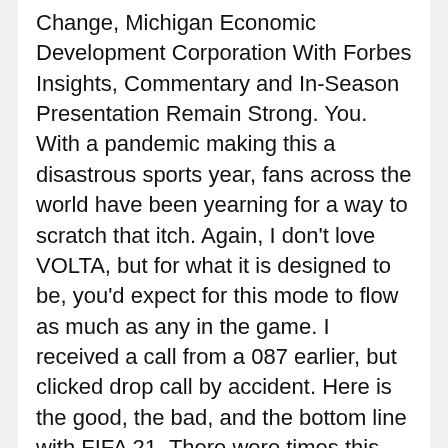Change, Michigan Economic Development Corporation With Forbes Insights, Commentary and In-Season Presentation Remain Strong. You. With a pandemic making this a disastrous sports year, fans across the world have been yearning for a way to scratch that itch. Again, I don't love VOLTA, but for what it is designed to be, you'd expect for this mode to flow as much as any in the game. I received a call from a 087 earlier, but clicked drop call by accident. Here is the good, the bad, and the bottom line with FIFA 21. There were times this led to offsides infractions, but when executed properly, it's a gem. From a pure gameplay standpoint, this year's game is one of the best since FIFA 17, which had the strongest gameplay of any release in the series over the past 10 years. Planning on smashing FIFA Ultimate Team in FIFA 21? FIFA 21 ratings have been revealed this week by EA, with